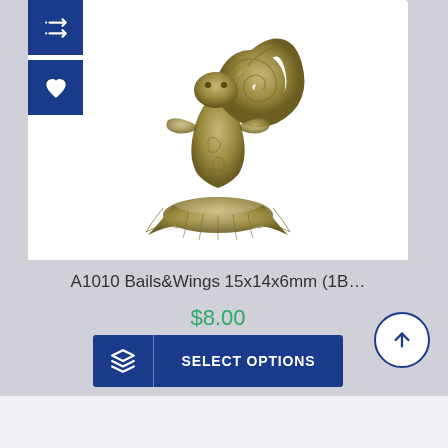[Figure (photo): Antique bronze/gold colored mermaid or sea creature figurine charm, shown against white background]
A1010 Bails&Wings 15x14x6mm (1B…
$8.00
SELECT OPTIONS